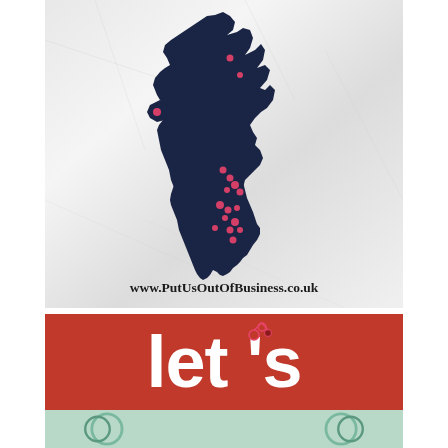[Figure (map): Map of the United Kingdom (dark navy silhouette) on a crumpled white paper background, with pink/red dots marking locations across the UK. Below the map is the URL text: www.PutUsOutOfBusiness.co.uk]
[Figure (infographic): Red banner with large white bold text reading 'let's' with a decorative red apostrophe swirl above the apostrophe]
[Figure (infographic): Light mint/teal strip at the bottom showing partial circular logo icons]